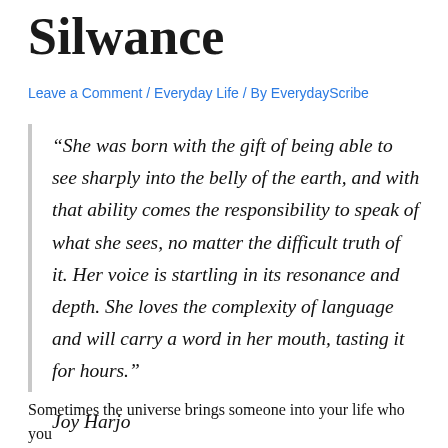Silwance
Leave a Comment / Everyday Life / By EverydayScribe
“She was born with the gift of being able to see sharply into the belly of the earth, and with that ability comes the responsibility to speak of what she sees, no matter the difficult truth of it. Her voice is startling in its resonance and depth. She loves the complexity of language and will carry a word in her mouth, tasting it for hours.”
Joy Harjo
Sometimes the universe brings someone into your life who you